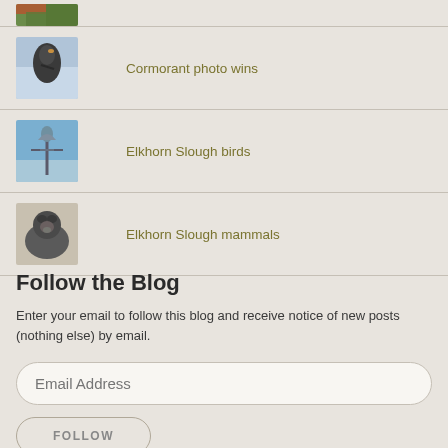[Figure (photo): Small thumbnail photo of a bird/nature at top, partially visible]
Cormorant photo wins
[Figure (photo): Thumbnail photo of a cormorant bird]
Elkhorn Slough birds
[Figure (photo): Thumbnail photo of a heron bird on wire]
Elkhorn Slough mammals
[Figure (photo): Thumbnail photo of a sea otter or seal]
Follow the Blog
Enter your email to follow this blog and receive notice of new posts (nothing else) by email.